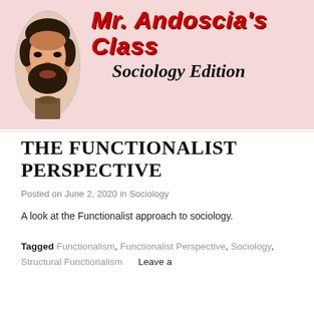[Figure (illustration): Banner image for 'Mr. Andoscia's Class - Sociology Edition' showing a stylized illustrated portrait of a bearded man in an oval frame on a pink background, with bold red decorative text 'Mr. Andoscia's Class' and italic black script 'Sociology Edition']
THE FUNCTIONALIST PERSPECTIVE
Posted on June 2, 2020 in Sociology
A look at the Functionalist approach to sociology.
Tagged Functionalism, Functionalist Perspective, Sociology, Structural Functionalism     Leave a